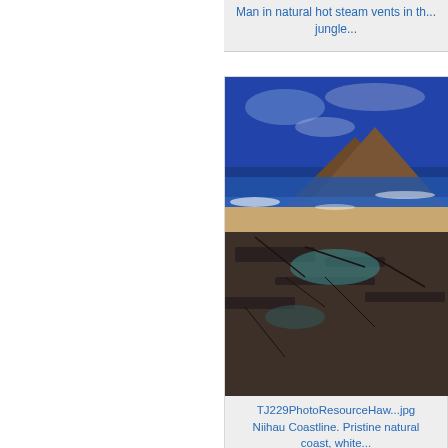Man in natural hot steam vents in th... jungle...
[Figure (photo): Coastal landscape with dark volcanic rocks, tidal pools, sandy areas, and a hill in background under blue sky]
TJ229PhotoResourceHaw...jpg
Niihau Coastline. Pristine natural coast, white...
[Figure (photo): Aerial view of a coastline with reddish-brown sandy beach, blue ocean waves and turquoise water]